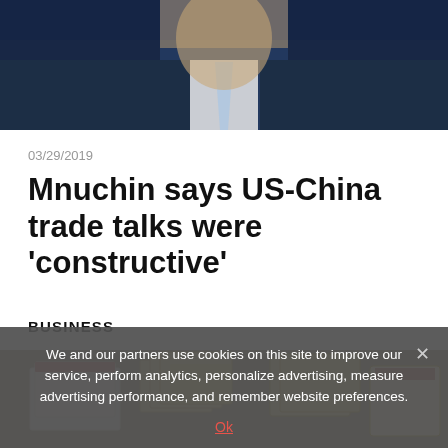[Figure (photo): Partial photo of a man in a dark suit with a light blue tie, cropped at the top of the page]
03/29/2019
Mnuchin says US-China trade talks were 'constructive'
BUSINESS
[Figure (photo): Photo of cards or documents spread out on a table, partially visible at the bottom of the page]
We and our partners use cookies on this site to improve our service, perform analytics, personalize advertising, measure advertising performance, and remember website preferences.
Ok